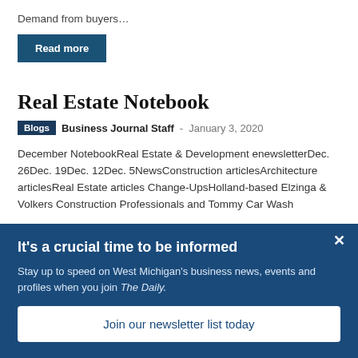Demand from buyers...
Read more
Real Estate Notebook
Blogs  Business Journal Staff - January 3, 2020
December NotebookReal Estate & Development enewsletterDec. 26Dec. 19Dec. 12Dec. 5NewsConstruction articlesArchitecture articlesReal Estate articles Change-UpsHolland-based Elzinga & Volkers Construction Professionals and Tommy Car Wash
It's a crucial time to be informed
Stay up to speed on West Michigan's business news, events and profiles when you join The Daily.
Join our newsletter list today